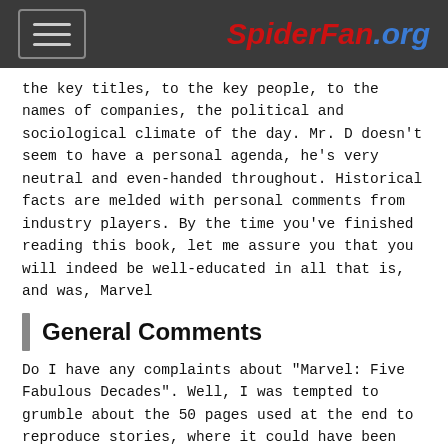SpiderFan.org
the key titles, to the key people, to the names of companies, the political and sociological climate of the day. Mr. D doesn't seem to have a personal agenda, he's very neutral and even-handed throughout. Historical facts are melded with personal comments from industry players. By the time you've finished reading this book, let me assure you that you will indeed be well-educated in all that is, and was, Marvel
General Comments
Do I have any complaints about "Marvel: Five Fabulous Decades". Well, I was tempted to grumble about the 50 pages used at the end to reproduce stories, where it could have been used for more facts and history. However, I can also appreciate the value for many readers of being given a carefully selected set of tales that show the changes that Marvel comics have gone in the 50 years and in